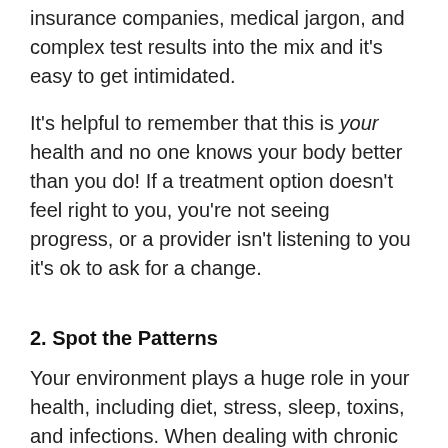insurance companies, medical jargon, and complex test results into the mix and it's easy to get intimidated.
It's helpful to remember that this is your health and no one knows your body better than you do! If a treatment option doesn't feel right to you, you're not seeing progress, or a provider isn't listening to you it's ok to ask for a change.
2. Spot the Patterns
Your environment plays a huge role in your health, including diet, stress, sleep, toxins, and infections. When dealing with chronic illness, there are usually a number of these factors in your history that triggered or are perpetuating your symptoms.